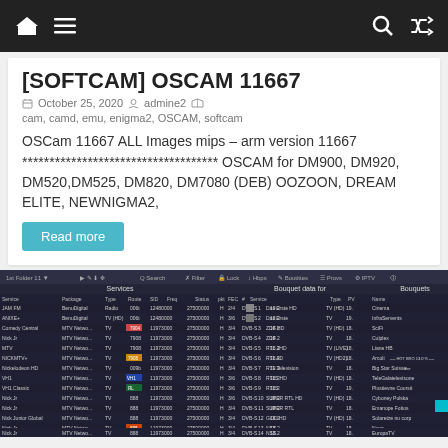[navbar with home, menu, search, shuffle icons]
[SOFTCAM] OSCAM 11667
October 25, 2020  admine2  cam, camd, emu, enigma2, OSCAM, softcam
OSCam 11667 ALL Images mips – arm version 11667 ************************************ OSCAM for DM900, DM920, DM520,DM525, DM820, DM7080 (DEB) OOZOON, DREAM ELITE, NEWNIGMA2,
Read more
[Figure (screenshot): Screenshot of a software interface showing a dark-themed table with columns for Services, Bouquet data, and Bouquets. Contains rows of service data including channel names like JAM FM, ANIXE+, Comedy Central, Nick Jr, MTV, NICKMTV+, Nickelodeon HD, VH1, VH1 Classic, Nick Jr, Nick Jr, Nick Junior Global, Nick Jr, Nick Jr. Right side shows bouquet information. A cyan arrow pointing up-right is visible in the lower right area.]